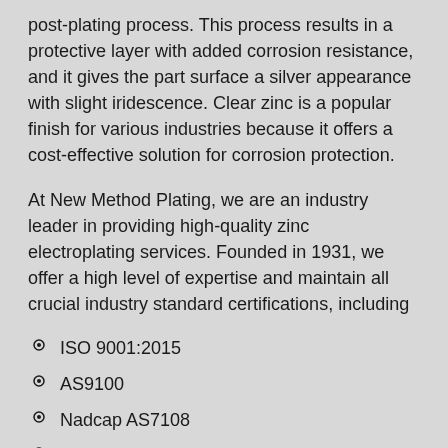post-plating process. This process results in a protective layer with added corrosion resistance, and it gives the part surface a silver appearance with slight iridescence. Clear zinc is a popular finish for various industries because it offers a cost-effective solution for corrosion protection.
At New Method Plating, we are an industry leader in providing high-quality zinc electroplating services. Founded in 1931, we offer a high level of expertise and maintain all crucial industry standard certifications, including
ISO 9001:2015
AS9100
Nadcap AS7108
Mil-Specs: ASTM B633, AMS 2402, MIL-STD-171, ASTM